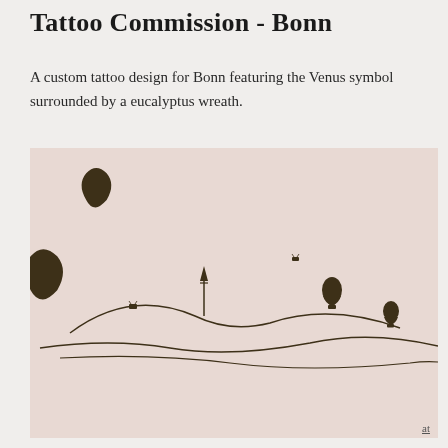Tattoo Commission - Bonn
A custom tattoo design for Bonn featuring the Venus symbol surrounded by a eucalyptus wreath.
[Figure (illustration): A minimalist line illustration on a dusty rose/blush background showing rolling hills with a tall spire/tower on one of the hills, and three hot air balloons floating above at different heights and sizes. Two wavy horizon lines cross the lower portion of the image.]
at